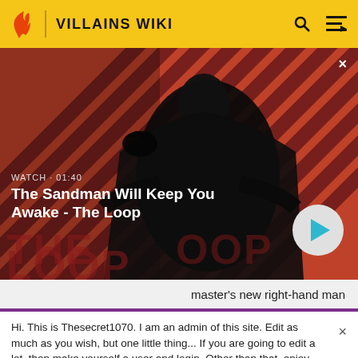VILLAINS WIKI
[Figure (screenshot): Video thumbnail showing a dark figure (man in black cape with a raven on his shoulder) against a red and dark diagonal striped background. Text overlay shows 'WATCH · 01:40' and title 'The Sandman Will Keep You Awake - The Loop' with a play button.]
master's new right-hand man
Hi. This is Thesecret1070. I am an admin of this site. Edit as much as you wish, but one little thing... If you are going to edit a lot, then make yourself a user and login. Other than that, enjoy Villains Wiki!!!